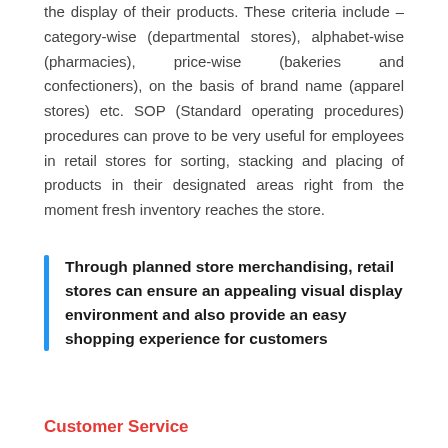the display of their products. These criteria include – category-wise (departmental stores), alphabet-wise (pharmacies), price-wise (bakeries and confectioners), on the basis of brand name (apparel stores) etc. SOP (Standard operating procedures) procedures can prove to be very useful for employees in retail stores for sorting, stacking and placing of products in their designated areas right from the moment fresh inventory reaches the store.
Through planned store merchandising, retail stores can ensure an appealing visual display environment and also provide an easy shopping experience for customers
Customer Service